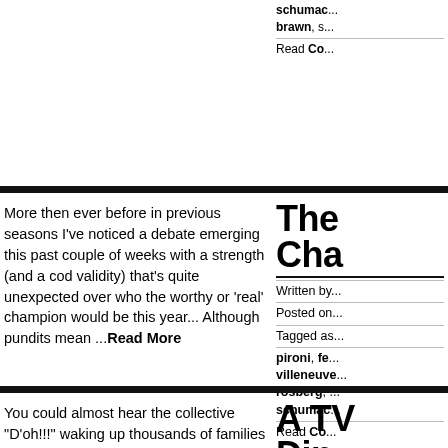schumac...
brawn, s...
Read Co...
More then ever before in previous seasons I've noticed a debate emerging this past couple of weeks with a strength (and a cod validity) that's quite unexpected over who the worthy or 'real' champion would be this year... Although pundits mean ...Read More
The Cha...
Written by...
Posted on...
Tagged as...
pironi, fe...
villeneuve...
rosberg,
schumac...
Read Co...
You could almost hear the collective "D'oh!!!" waking up thousands of families across the UK very early last Sunday morning, as F1
A TV Din...